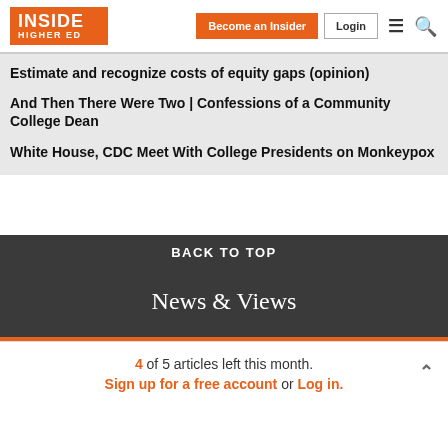Inside Higher Ed — Become an Insider | Login
Estimate and recognize costs of equity gaps (opinion)
And Then There Were Two | Confessions of a Community College Dean
White House, CDC Meet With College Presidents on Monkeypox
BACK TO TOP
News & Views
4 of 5 articles left this month. Sign up for a free account or Log in.